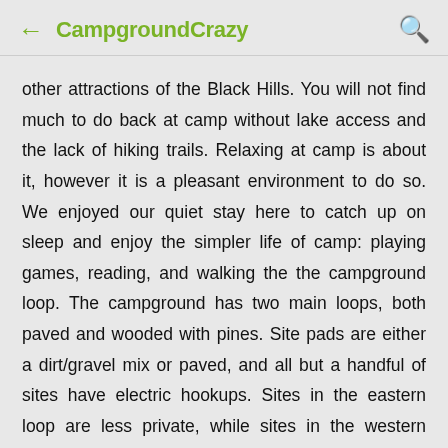← CampgroundCrazy 🔍
other attractions of the Black Hills. You will not find much to do back at camp without lake access and the lack of hiking trails. Relaxing at camp is about it, however it is a pleasant environment to do so. We enjoyed our quiet stay here to catch up on sleep and enjoy the simpler life of camp: playing games, reading, and walking the the campground loop. The campground has two main loops, both paved and wooded with pines. Site pads are either a dirt/gravel mix or paved, and all but a handful of sites have electric hookups. Sites in the eastern loop are less private, while sites in the western loop are more spacious and have easier access to a nice bathhouse. Most sites are fairly level, with the exception of site 4. Sites 3 and 4 both have more road noise than others. There